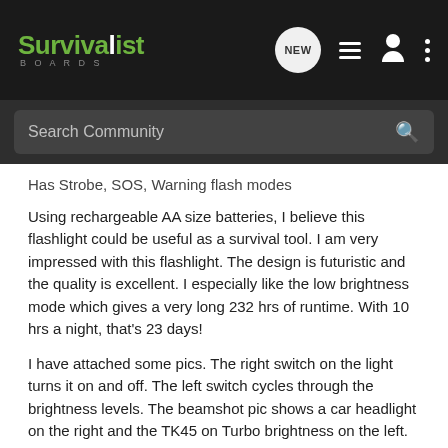[Figure (screenshot): Survivalist Boards website header navigation bar with logo, NEW button, list icon, person icon, and three-dot menu]
[Figure (screenshot): Search Community search bar on dark background]
Has Strobe, SOS, Warning flash modes
Using rechargeable AA size batteries, I believe this flashlight could be useful as a survival tool. I am very impressed with this flashlight. The design is futuristic and the quality is excellent. I especially like the low brightness mode which gives a very long 232 hrs of runtime. With 10 hrs a night, that's 23 days!
I have attached some pics. The right switch on the light turns it on and off. The left switch cycles through the brightness levels. The beamshot pic shows a car headlight on the right and the TK45 on Turbo brightness on the left. It is very bright.
Attachments
[Figure (photo): Thumbnail image attachment, partially visible at bottom of page]